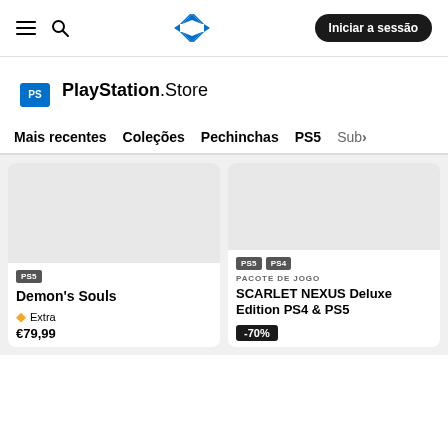≡  🔍   [PlayStation logo]   Iniciar a sessão
[Figure (logo): PlayStation Store logo with shopping bag icon and text 'PlayStation.Store']
Mais recentes  Coleções  Pechinchas  PS5  Sub›
[Figure (screenshot): Product card for Demon's Souls with PS5 tag, Extra badge, price €79,99]
[Figure (screenshot): Product card for SCARLET NEXUS Deluxe Edition PS4 & PS5 with PS5 and PS4 tags, PACOTE DE JOGO subtitle, -70% discount badge]